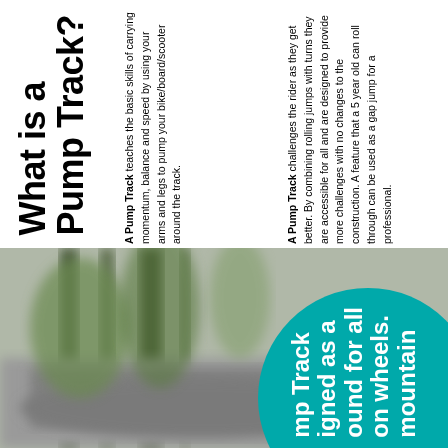What is a Pump Track?
A Pump Track teaches the basic skills of carrying momentum, balance and speed by using your arms and legs to pump your bike/board/scooter around the track.
A Pump Track challenges the rider as they get better. By combining rolling jumps with turns they are accessible for all and are designed to provide more challenges with no changes to the construction. A feature that a 5 year old can roll through can be used as a gap jump for a professional.
[Figure (photo): Blurry outdoor photo of a pump track surface with grey asphalt visible, green/brown vegetation blurred in background]
A Pump Track is designed as a playground for all on wheels, from mountain